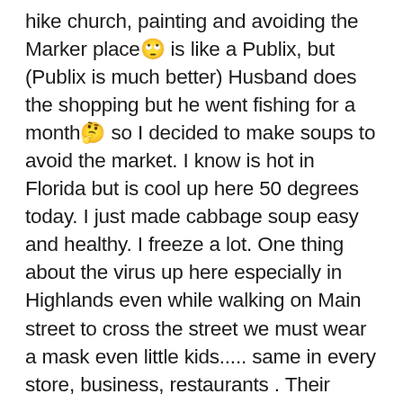hike church, painting and avoiding the Marker place🙄 is like a Publix, but (Publix is much better) Husband does the shopping but he went fishing for a month🤔 so I decided to make soups to avoid the market. I know is hot in Florida but is cool up here 50 degrees today. I just made cabbage soup easy and healthy. I freeze a lot. One thing about the virus up here especially in Highlands even while walking on Main street to cross the street we must wear a mask even little kids..... same in every store, business, restaurants . Their signs read: by Governors orders MASK ON to come in. I like that as everyone and their dogs are here.!!! actually they do bring beautiful dogs some of then have diamonds in their collars... We should be back in Florida by the end of October I really want to be near the kids and family before elections...